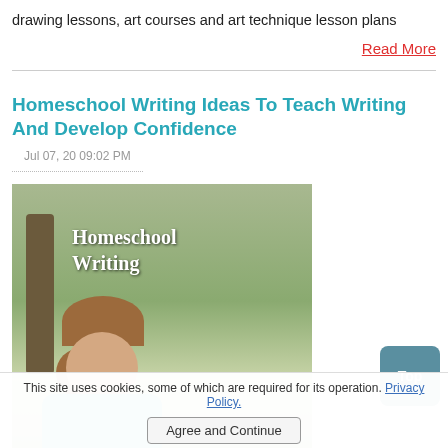drawing lessons, art courses and art technique lesson plans
Read More
Homeschool Writing Ideas To Teach Writing And Develop Confidence
Jul 07, 20 09:02 PM
[Figure (photo): Photo of a young girl sitting outdoors reading/writing, with overlay text 'Homeschool Writing']
This site uses cookies, some of which are required for its operation. Privacy Policy.
Agree and Continue